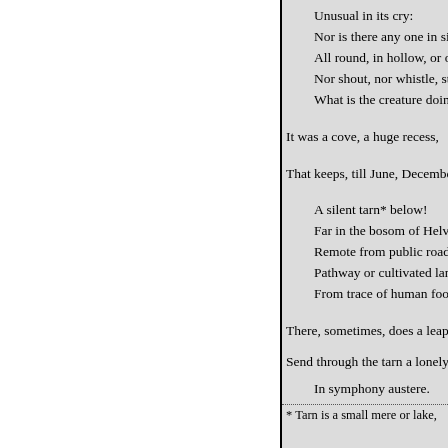Unusual in its cry:
Nor is there any one in sigh
All round, in hollow, or on h
Nor shout, nor whistle, strik
What is the creature doing h
It was a cove, a huge recess,
That keeps, till June, December's
A silent tarn* below!
Far in the bosom of Helvell
Remote from public road or
Pathway or cultivated land,
From trace of human foot o
There, sometimes, does a leaping
Send through the tarn a lonely ch
In symphony austere.
* Tarn is a small mere or lake,
« Anterior